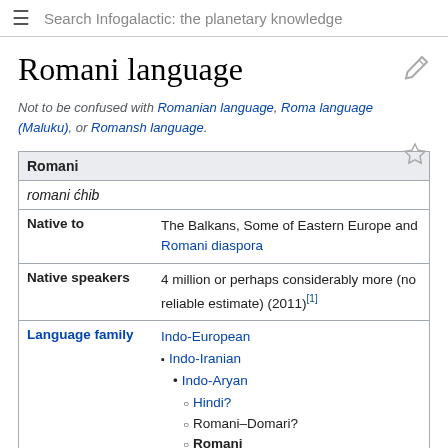Search Infogalactic: the planetary knowledge
Romani language
Not to be confused with Romanian language, Roma language (Maluku), or Romansh language.
| Romani |  |
| --- | --- |
| romani ćhib |  |
| Native to | The Balkans, Some of Eastern Europe and Romani diaspora |
| Native speakers | 4 million or perhaps considerably more (no reliable estimate) (2011)[1] |
| Language family | Indo-European
• Indo-Iranian
  • Indo-Aryan
    ○ Hindi?
    ○ Romani–Domari?
    ○ Romani |